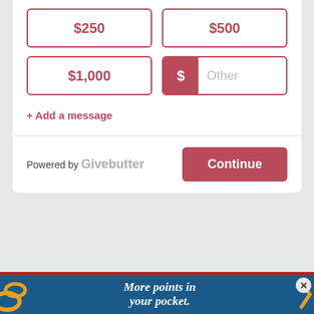$250
$500
$1,000
$ Other
+ Add a message
Powered by Givebutter
Continue
[Figure (infographic): Advertisement banner with teal/blue background, red border on top, orange decorative swoosh elements on left and right, text reading 'More points in your pocket.' in white italic serif font. Close button (×) in top right corner.]